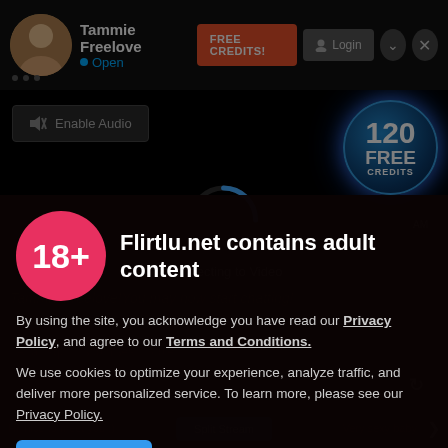Tammie Freelove
Open
FREE CREDITS!
Login
[Figure (screenshot): Video chat interface showing a loading spinner with 'Connecting to Video' text, a '120 FREE CREDITS' badge, and an Enable Audio button on a black background]
Connecting to Video
[Figure (infographic): 18+ age verification circle badge in red/pink]
Flirtlu.net contains adult content
By using the site, you acknowledge you have read our Privacy Policy, and agree to our Terms and Conditions.
We use cookies to optimize your experience, analyze traffic, and deliver more personalized service. To learn more, please see our Privacy Policy.
I AGREE